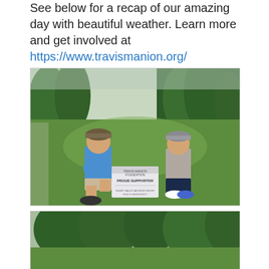See below for a recap of our amazing day with beautiful weather. Learn more and get involved at https://www.travismanion.org/
[Figure (photo): Two men crouching on a golf course green, posing next to a sign that reads 'Travis Manion Foundation PROUD SUPPORTER' with a company logo below. One man wears a blue polo and khaki shorts with a camo cap, the other wears a grey polo and dark pants with a grey cap. Trees visible in background.]
[Figure (photo): Partial view of a golf course with trees in background, bottom portion of image visible.]